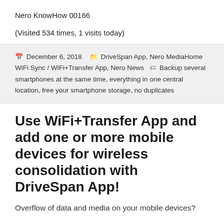Nero KnowHow 00166
(Visited 534 times, 1 visits today)
December 6, 2018  DriveSpan App, Nero MediaHome WiFi Sync / WiFi+Transfer App, Nero News  Backup several smartphones at the same time, everything in one central location, free your smartphone storage, no duplicates
Use WiFi+Transfer App and add one or more mobile devices for wireless consolidation with DriveSpan App!
Overflow of data and media on your mobile devices?